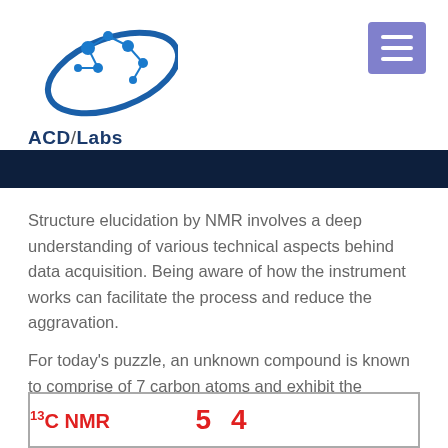[Figure (logo): ACD/Labs logo with molecular structure graphic and company name]
Structure elucidation by NMR involves a deep understanding of various technical aspects behind data acquisition. Being aware of how the instrument works can facilitate the process and reduce the aggravation.
For today's puzzle, an unknown compound is known to comprise of 7 carbon atoms and exhibit the following 13C NMR spectrum with 1H decoupling. How can the 7 atoms be accounted for in the spectrum below?
[Figure (screenshot): 13C NMR spectrum box showing label '13C NMR' and numbers '5 4' in red]